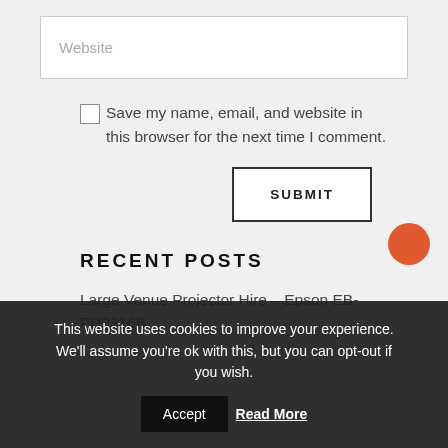Website
Save my name, email, and website in this browser for the next time I comment.
SUBMIT
RECENT POSTS
Large Venue Projector Hire – Epson EB-PU2216B
This website uses cookies to improve your experience. We'll assume you're ok with this, but you can opt-out if you wish.
Accept
Read More